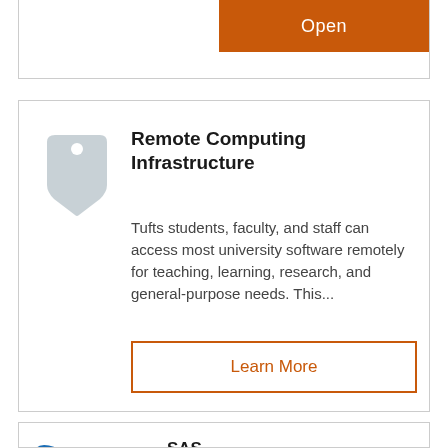[Figure (illustration): Orange 'Open' button at top of a card]
Open
Remote Computing Infrastructure
Tufts students, faculty, and staff can access most university software remotely for teaching, learning, research, and general-purpose needs. This...
Learn More
[Figure (logo): SAS software logo in blue and dark text]
SAS
Statistical software package used for predictive and descriptive modeling, data